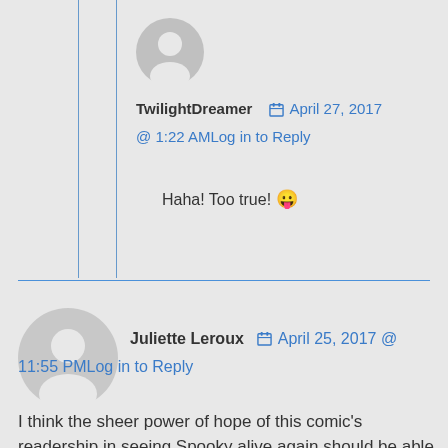[Figure (other): Small circular gray avatar icon for TwilightDreamer]
TwilightDreamer  📅 April 27, 2017 @ 1:22 AMLog in to Reply
Haha! Too true! 😛
[Figure (other): Large circular gray avatar icon for Juliette Leroux]
Juliette Leroux  📅 April 25, 2017 @ 11:55 PMLog in to Reply
I think the sheer power of hope of this comic's readership in seeing Spooky alive again should be able to revive him. Don't